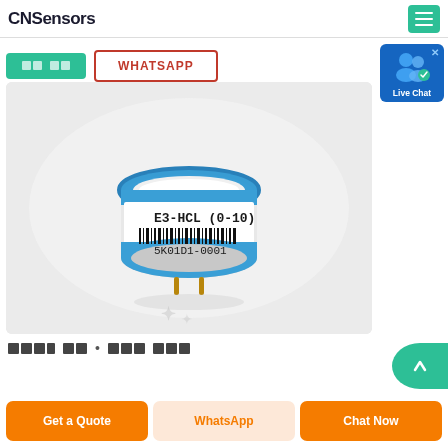CNSensors
[Figure (logo): CNSensors logo - bold dark text]
[Korean text] WHATSAPP
[Figure (photo): Electrochemical gas sensor E3-HCL (0-10) with barcode and serial number 5K01D1-0001, cylindrical shape with blue rim and gold pins]
[Corrupted text] - product description line
Get a Quote | WhatsApp | Chat Now